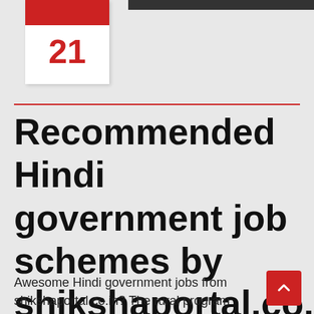[Figure (other): Calendar icon showing number 21 with red top bar]
Recommended Hindi government job schemes by shikshaportal.co.in
Awesome Hindi government jobs from shikshaportal.co.in? The rural program involves